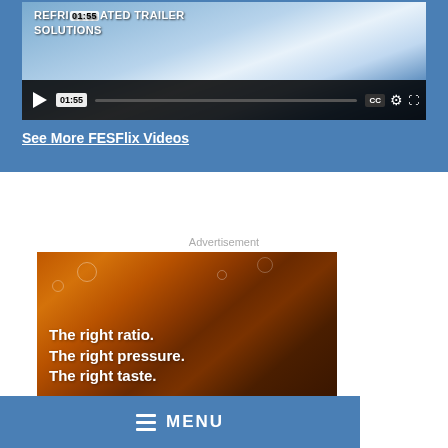[Figure (screenshot): Refrigerated trailer video player with play button, 01:55 timestamp, progress bar, CC, settings, and fullscreen icons. Title overlay reads REFRIGERATED TRAILER SOLUTIONS.]
See More FESFlix Videos
Advertisement
[Figure (photo): Advertisement image showing a cola/soda beverage close-up with text: The right ratio. The right pressure. The right taste.]
MENU